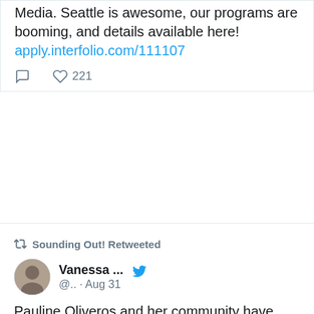Media. Seattle is awesome, our programs are booming, and details available here! apply.interfolio.com/111107
221 likes (heart icon)
Sounding Out! Retweeted
[Figure (photo): Circular avatar photo of Vanessa with dark hair]
Vanessa ... @.. · Aug 31
Pauline Oliveros and her community have been experimenting with the internet music making since the '90s. I wrote about these virtual deep listening projects, both past and present, for the September 2022 edition of @TheBrooklynRail: brooklynrail.org/2022/09/...